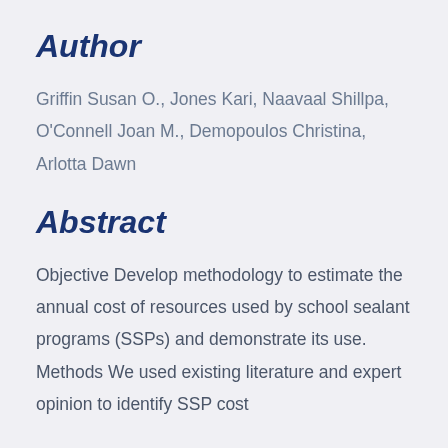Author
Griffin Susan O., Jones Kari, Naavaal Shillpa, O'Connell Joan M., Demopoulos Christina, Arlotta Dawn
Abstract
Objective Develop methodology to estimate the annual cost of resources used by school sealant programs (SSPs) and demonstrate its use. Methods We used existing literature and expert opinion to identify SSP cost